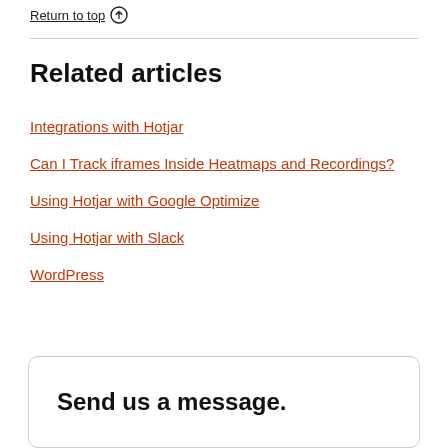Return to top ↑
Related articles
Integrations with Hotjar
Can I Track iframes Inside Heatmaps and Recordings?
Using Hotjar with Google Optimize
Using Hotjar with Slack
WordPress
Send us a message.